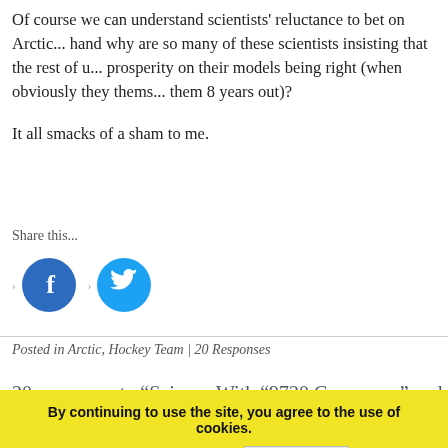Of course we can understand scientists' reluctance to bet on Arctic... hand why are so many of these scientists insisting that the rest of u... prosperity on their models being right (when obviously they thems... them 8 years out)?
It all smacks of a sham to me.
Share this...
[Figure (illustration): Facebook share button (blue circle with f icon) and Twitter share button (cyan circle with bird icon)]
Posted in Arctic, Hockey Team | 20 Responses
20 responses to “Science With “9720 Consensus” and “... 020 Or ns Sc entists Wh...th But on gl...
By continuing to use the site, you agree to the use of cookies. more information  Accept
BobW in NC 30. September 2014 at 8:09 PM | Permalink